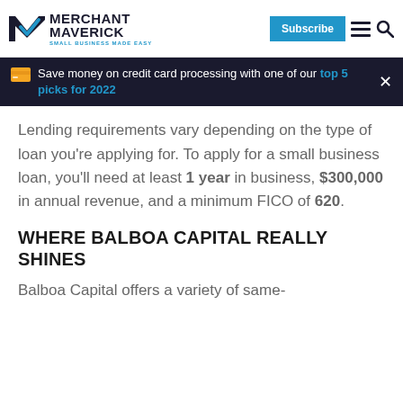MERCHANT MAVERICK — SMALL BUSINESS MADE EASY | Subscribe
Save money on credit card processing with one of our top 5 picks for 2022
Lending requirements vary depending on the type of loan you're applying for. To apply for a small business loan, you'll need at least 1 year in business, $300,000 in annual revenue, and a minimum FICO of 620.
WHERE BALBOA CAPITAL REALLY SHINES
Balboa Capital offers a variety of same-